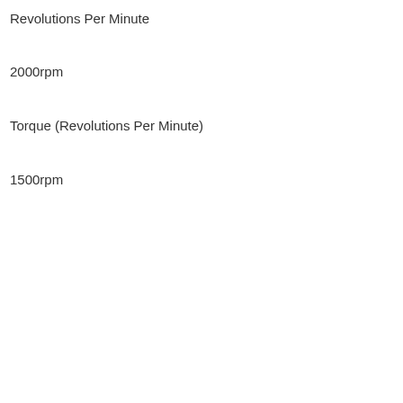Revolutions Per Minute
2000rpm
Torque (Revolutions Per Minute)
1500rpm